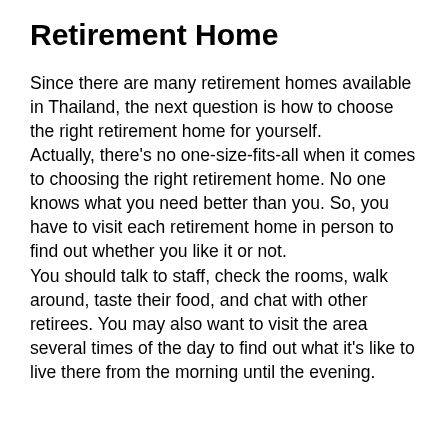Retirement Home
Since there are many retirement homes available in Thailand, the next question is how to choose the right retirement home for yourself.
Actually, there's no one-size-fits-all when it comes to choosing the right retirement home. No one knows what you need better than you. So, you have to visit each retirement home in person to find out whether you like it or not.
You should talk to staff, check the rooms, walk around, taste their food, and chat with other retirees. You may also want to visit the area several times of the day to find out what it's like to live there from the morning until the evening.